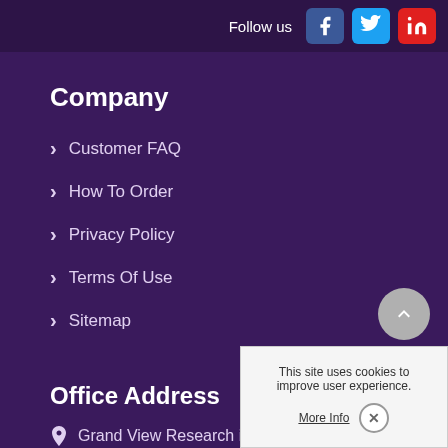Follow us
Company
Customer FAQ
How To Order
Privacy Policy
Terms Of Use
Sitemap
Office Address
Grand View Research is ... California at Grand View Re... Street 1100, San Francisco, CA 94105, United States
This site uses cookies to improve user experience. More Info